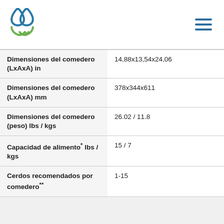Logo and navigation menu
| Propiedad | Valor |
| --- | --- |
| Dimensiones del comedero (LxAxA) in | 14,88x13,54x24,06 |
| Dimensiones del comedero (LxAxA) mm | 378x344x611 |
| Dimensiones del comedero (peso) lbs / kgs | 26.02 / 11.8 |
| Capacidad de alimento* lbs / kgs | 15 / 7 |
| Cerdos recomendados por comedero** | 1-15 |